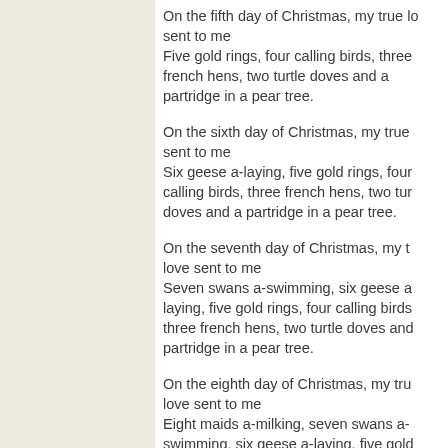On the fifth day of Christmas, my true love sent to me Five gold rings, four calling birds, three french hens, two turtle doves and a partridge in a pear tree.
On the sixth day of Christmas, my true love sent to me Six geese a-laying, five gold rings, four calling birds, three french hens, two turtle doves and a partridge in a pear tree.
On the seventh day of Christmas, my true love sent to me Seven swans a-swimming, six geese a-laying, five gold rings, four calling birds, three french hens, two turtle doves and a partridge in a pear tree.
On the eighth day of Christmas, my true love sent to me Eight maids a-milking, seven swans a-swimming, six geese a-laying, five gold rings, four calling birds, three french hens, two turtle doves and a partridge in a pear tree.